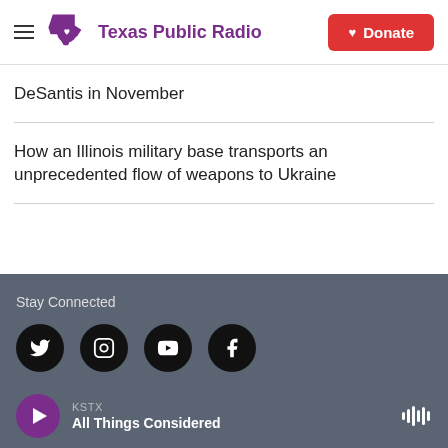Texas Public Radio | Donate
DeSantis in November
How an Illinois military base transports an unprecedented flow of weapons to Ukraine
Stay Connected | KSTX | All Things Considered